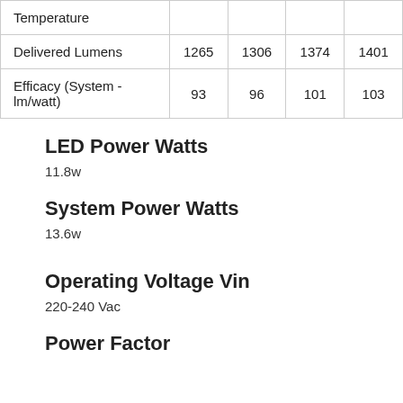|  |  |  |  |  |
| --- | --- | --- | --- | --- |
| Temperature |  |  |  |  |
| Delivered Lumens | 1265 | 1306 | 1374 | 1401 |
| Efficacy (System - lm/watt) | 93 | 96 | 101 | 103 |
LED Power Watts
11.8w
System Power Watts
13.6w
Operating Voltage Vin
220-240 Vac
Power Factor